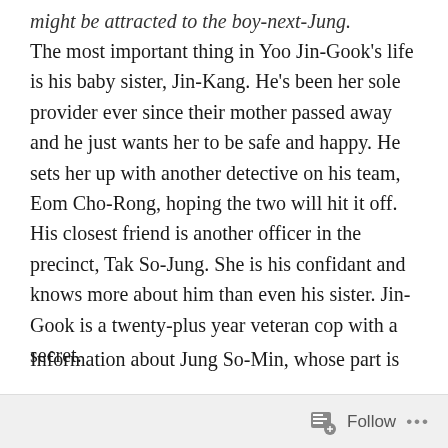might be attracted to the boy-next-Jung.
The most important thing in Yoo Jin-Gook’s life is his baby sister, Jin-Kang. He’s been her sole provider ever since their mother passed away and he just wants her to be safe and happy. He sets her up with another detective on his team, Eom Cho-Rong, hoping the two will hit it off. His closest friend is another officer in the precinct, Tak So-Jung. She is his confidant and knows more about him than even his sister. Jin-Gook is a twenty-plus year veteran cop with a secret.
For information about Seo In-Guk, who plays the part of Kim Moo-Young, you can go to my Shopping King Louie review.
Information about Jung So-Min, whose part is
Follow ...